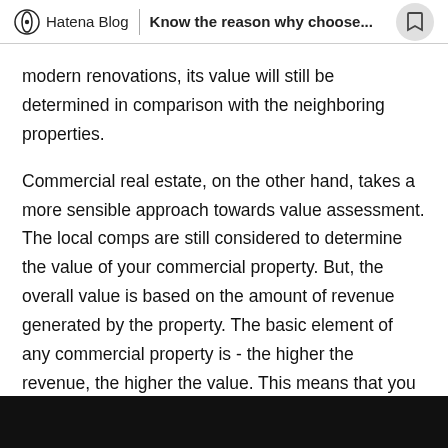Hatena Blog  |  Know the reason why choose...
modern renovations, its value will still be determined in comparison with the neighboring properties.
Commercial real estate, on the other hand, takes a more sensible approach towards value assessment. The local comps are still considered to determine the value of your commercial property. But, the overall value is based on the amount of revenue generated by the property. The basic element of any commercial property is - the higher the revenue, the higher the value. This means that you can stimulate the appreciation of your property by finding creative ways to increase revenue.